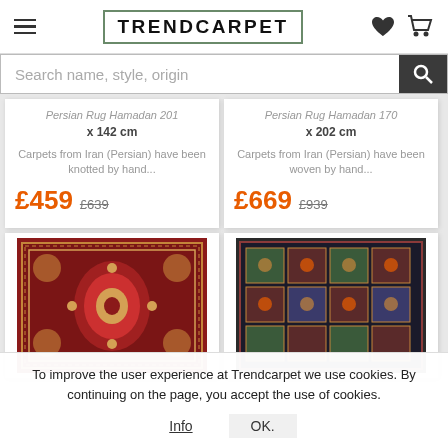TRENDCARPET
Search name, style, origin
Persian Rug Hamadan 201 x 142 cm
Carpets from Iran (Persian) have been knotted by hand...
£459  £639
Persian Rug Hamadan 170 x 202 cm
Carpets from Iran (Persian) have been woven by hand...
£669  £939
[Figure (photo): Persian rug with red and ornate traditional pattern]
[Figure (photo): Persian rug with geometric grid pattern in dark tones]
To improve the user experience at Trendcarpet we use cookies. By continuing on the page, you accept the use of cookies.